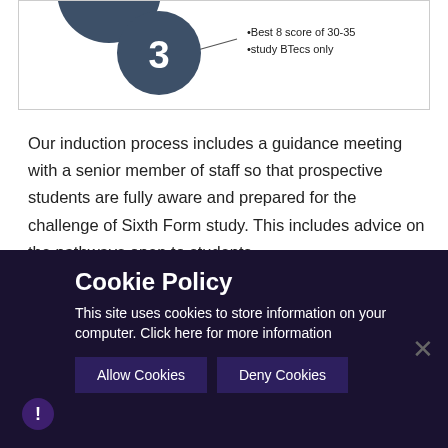[Figure (infographic): Diagram showing circle numbered 3 with bullet points: Best 8 score of 30-35, study BTecs only]
Our induction process includes a guidance meeting with a senior member of staff so that prospective students are fully aware and prepared for the challenge of Sixth Form study. This includes advice on the pathways open to students.
It is also important that students have demonstrated an appropriate attitude to study and possess the capability of working independently and meeting subject requirements in order to achieve that in subject curricula running in September. There will be induction course material and subject materials available on the website.
Cookie Policy
This site uses cookies to store information on your computer. Click here for more information
Allow Cookies  Deny Cookies